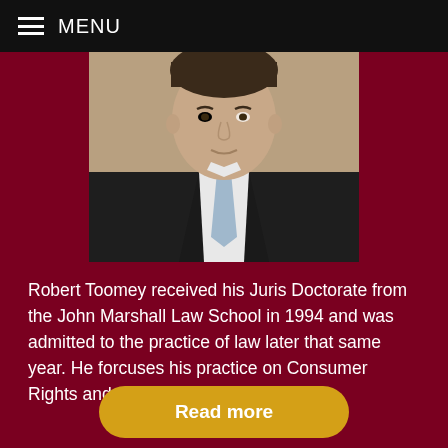MENU
[Figure (photo): Headshot of Robert Toomey, a man in a dark suit with a white shirt and light blue tie, photographed from the chest up against a neutral background.]
Robert Toomey received his Juris Doctorate from the John Marshall Law School in 1994 and was admitted to the practice of law later that same year. He forcuses his practice on Consumer Rights and Consumer Bankruptcy.
Read more